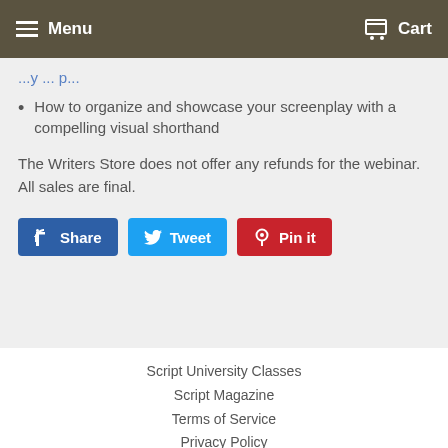Menu  Cart
How to organize and showcase your screenplay with a compelling visual shorthand
The Writers Store does not offer any refunds for the webinar. All sales are final.
[Figure (other): Social share buttons: Share (Facebook), Tweet (Twitter), Pin it (Pinterest)]
Script University Classes
Script Magazine
Terms of Service
Privacy Policy
Contact Us